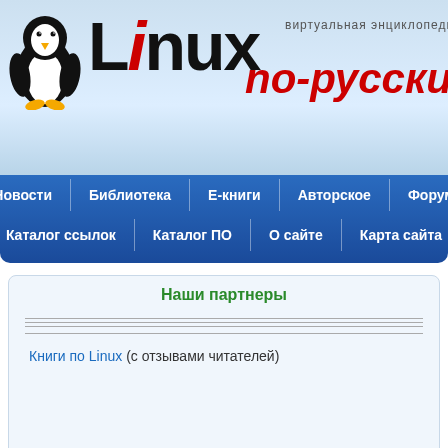[Figure (logo): Linux по-русски website header with Tux penguin logo, 'Linux' in large black text with red italic 'i', subtitle 'виртуальная энциклопеди' in gray, and 'по-русски' in red italic large text below on a light blue gradient background]
Новости | Библиотека | Е-книги | Авторское | Форум | Каталог ссылок | Каталог ПО | О сайте | Карта сайта
Наши партнеры
Книги по Linux (с отзывами читателей)